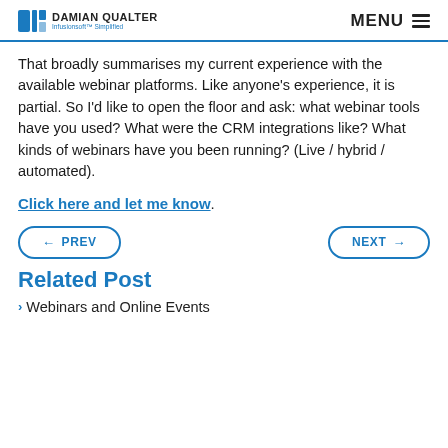DAMIAN QUALTER — Infusionsoft™ Simplified | MENU
That broadly summarises my current experience with the available webinar platforms. Like anyone's experience, it is partial. So I'd like to open the floor and ask: what webinar tools have you used? What were the CRM integrations like? What kinds of webinars have you been running? (Live / hybrid / automated).
Click here and let me know.
← PREV   NEXT →
Related Post
Webinars and Online Events